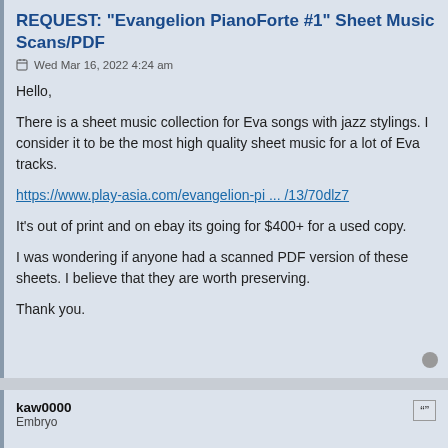REQUEST: "Evangelion PianoForte #1" Sheet Music Scans/PDF
Wed Mar 16, 2022 4:24 am
Hello,
There is a sheet music collection for Eva songs with jazz stylings. I consider it to be the most high quality sheet music for a lot of Eva tracks.
https://www.play-asia.com/evangelion-pi ... /13/70dlz7
It's out of print and on ebay its going for $400+ for a used copy.
I was wondering if anyone had a scanned PDF version of these sheets. I believe that they are worth preserving.
Thank you.
kaw0000
Embryo
Re: REQUEST: "Evangelion PianoForte #1" Sheet Music Scans/PDF
Wed Jun 08, 2022 10:49 am